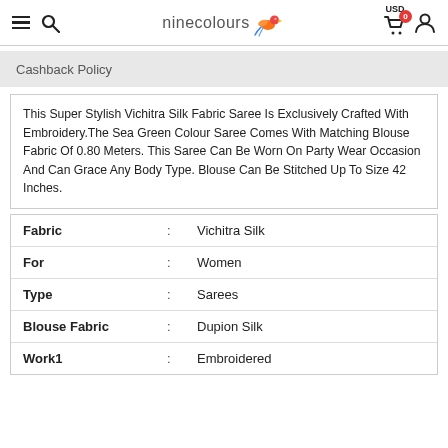ninecolours — USD 0 (cart) user icon
Cashback Policy
This Super Stylish Vichitra Silk Fabric Saree Is Exclusively Crafted With Embroidery.The Sea Green Colour Saree Comes With Matching Blouse Fabric Of 0.80 Meters. This Saree Can Be Worn On Party Wear Occasion And Can Grace Any Body Type. Blouse Can Be Stitched Up To Size 42 Inches.
| Property |  | Value |
| --- | --- | --- |
| Fabric | : | Vichitra Silk |
| For | : | Women |
| Type | : | Sarees |
| Blouse Fabric | : | Dupion Silk |
| Work1 | : | Embroidered |